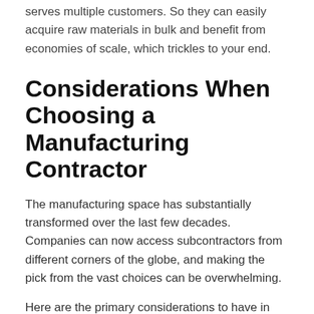serves multiple customers. So they can easily acquire raw materials in bulk and benefit from economies of scale, which trickles to your end.
Considerations When Choosing a Manufacturing Contractor
The manufacturing space has substantially transformed over the last few decades. Companies can now access subcontractors from different corners of the globe, and making the pick from the vast choices can be overwhelming.
Here are the primary considerations to have in mind when making your selection.